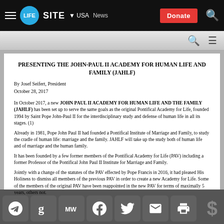LIFESITE | USA | News | Donate
PRESENTING THE JOHN-PAUL II ACADEMY FOR HUMAN LIFE AND FAMILY (JAHLF)
By Josef Seifert, President
October 28, 2017
In October 2017, a new JOHN PAUL II ACADEMY FOR HUMAN LIFE AND THE FAMILY (JAHLF) has been set up to serve the same goals as the original Pontifical Academy for Life, founded 1994 by Saint Pope John-Paul II for the interdisciplinary study and defense of human life in all its stages. (1)
Already in 1981, Pope John Paul II had founded a Pontifical Institute of Marriage and Family, to study the cradle of human life: marriage and the family. JAHLF will take up the study both of human life and of marriage and the human family.
It has been founded by a few former members of the Pontifical Academy for Life (PAV) including a former Professor of the Pontifical John Paul II Institute for Marriage and Family.
Jointly with a change of the statutes of the PAV effected by Pope Francis in 2016, it had pleased His Holiness to dismiss all members of the previous PAV in order to create a new Academy for Life. Some of the members of the original PAV have been reappointed in the new PAV for terms of maximally 5 years, others not.
Social share icons and donate